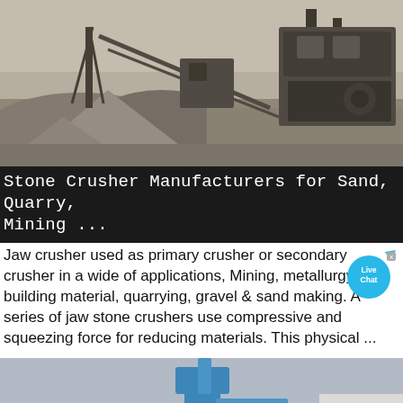[Figure (photo): Outdoor stone crushing plant with large machinery, conveyor belts, and piles of crushed stone/gravel material in a dusty quarry setting.]
Stone Crusher Manufacturers for Sand, Quarry, Mining ...
Jaw crusher used as primary crusher or secondary crusher in a wide of applications, Mining, metallurgy, building material, quarrying, gravel & sand making. A series of jaw stone crushers use compressive and squeezing force for reducing materials. This physical ...
[Figure (photo): Industrial grinding/milling plant exterior showing large blue cylindrical towers, a white silo-type tank, and red industrial containers against a grey sky.]